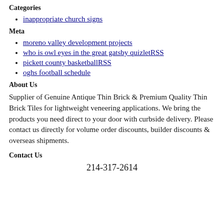Categories
inappropriate church signs
Meta
moreno valley development projects
who is owl eyes in the great gatsby quizletRSS
pickett county basketballRSS
oghs football schedule
About Us
Supplier of Genuine Antique Thin Brick & Premium Quality Thin Brick Tiles for lightweight veneering applications. We bring the products you need direct to your door with curbside delivery. Please contact us directly for volume order discounts, builder discounts & overseas shipments.
Contact Us
214-317-2614